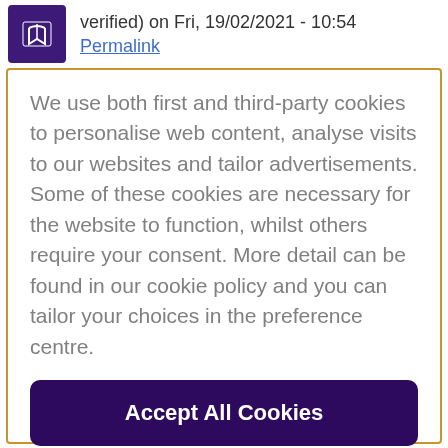verified) on Fri, 19/02/2021 - 10:54
Permalink
We use both first and third-party cookies to personalise web content, analyse visits to our websites and tailor advertisements. Some of these cookies are necessary for the website to function, whilst others require your consent. More detail can be found in our cookie policy and you can tailor your choices in the preference centre.
Accept All Cookies
Cookies Settings